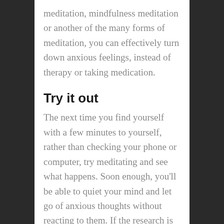meditation, mindfulness meditation or another of the many forms of meditation, you can effectively turn down anxious feelings, instead of therapy or taking medication.
Try it out
The next time you find yourself with a few minutes to yourself, rather than checking your phone or computer, try meditating and see what happens. Soon enough, you'll be able to quiet your mind and let go of anxious thoughts without reacting to them. If the research is right, just a few minutes of meditation may